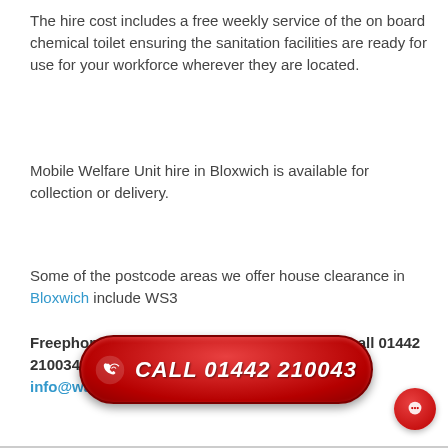The hire cost includes a free weekly service of the on board chemical toilet ensuring the sanitation facilities are ready for use for your workforce wherever they are located.
Mobile Welfare Unit hire in Bloxwich is available for collection or delivery.
Some of the postcode areas we offer house clearance in Bloxwich include WS3
Freephone: 0800 141 2778 or, from a mobile, call 01442 210034. You can also email us at: info@wasteking.co.uk
[Figure (other): Red pill-shaped call-to-action button with phone icon and text 'CALL 01442 210043']
[Figure (other): Red circular chat bubble icon in bottom right corner]